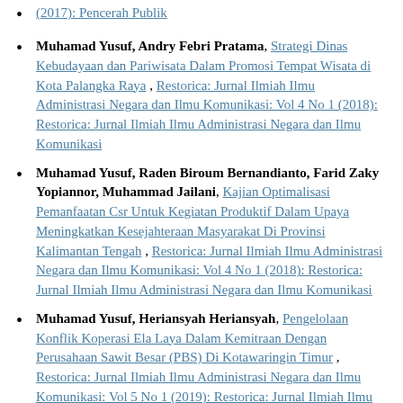(2017): Pencerah Publik
Muhamad Yusuf, Andry Febri Pratama, Strategi Dinas Kebudayaan dan Pariwisata Dalam Promosi Tempat Wisata di Kota Palangka Raya , Restorica: Jurnal Ilmiah Ilmu Administrasi Negara dan Ilmu Komunikasi: Vol 4 No 1 (2018): Restorica: Jurnal Ilmiah Ilmu Administrasi Negara dan Ilmu Komunikasi
Muhamad Yusuf, Raden Biroum Bernandianto, Farid Zaky Yopiannor, Muhammad Jailani, Kajian Optimalisasi Pemanfaatan Csr Untuk Kegiatan Produktif Dalam Upaya Meningkatkan Kesejahteraan Masyarakat Di Provinsi Kalimantan Tengah , Restorica: Jurnal Ilmiah Ilmu Administrasi Negara dan Ilmu Komunikasi: Vol 4 No 1 (2018): Restorica: Jurnal Ilmiah Ilmu Administrasi Negara dan Ilmu Komunikasi
Muhamad Yusuf, Heriansyah Heriansyah, Pengelolaan Konflik Koperasi Ela Laya Dalam Kemitraan Dengan Perusahaan Sawit Besar (PBS) Di Kotawaringin Timur , Restorica: Jurnal Ilmiah Ilmu Administrasi Negara dan Ilmu Komunikasi: Vol 5 No 1 (2019): Restorica: Jurnal Ilmiah Ilmu Administrasi Negara dan Ilmu Komunikasi